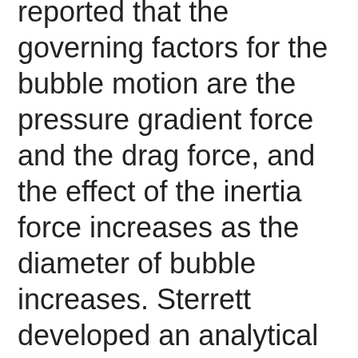reported that the governing factors for the bubble motion are the pressure gradient force and the drag force, and the effect of the inertia force increases as the diameter of bubble increases. Sterrett developed an analytical model for the motion of a single bubble through a pump impeller. The results showed that the Coriolis and buoyancy forces are